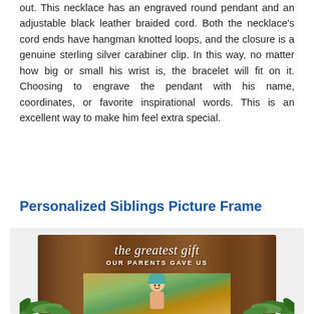out. This necklace has an engraved round pendant and an adjustable black leather braided cord. Both the necklace's cord ends have hangman knotted loops, and the closure is a genuine sterling silver carabiner clip. In this way, no matter how big or small his wrist is, the bracelet will fit on it. Choosing to engrave the pendant with his name, coordinates, or favorite inspirational words. This is an excellent way to make him feel extra special.
Personalized Siblings Picture Frame
[Figure (photo): A wooden picture frame with cursive text 'the greatest gift' and subtitle 'OUR PARENTS GAVE US', with a photo of a smiling child wearing a teal beanie, surrounded by green leaves/plants at the bottom corners]